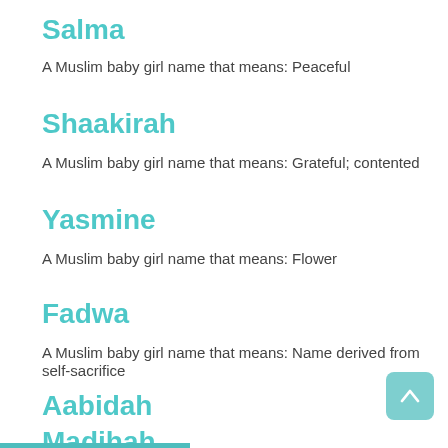Salma
A Muslim baby girl name that means: Peaceful
Shaakirah
A Muslim baby girl name that means: Grateful; contented
Yasmine
A Muslim baby girl name that means: Flower
Fadwa
A Muslim baby girl name that means: Name derived from self-sacrifice
Aabidah
A Muslim baby girl name that means: Worshiper
Madihah